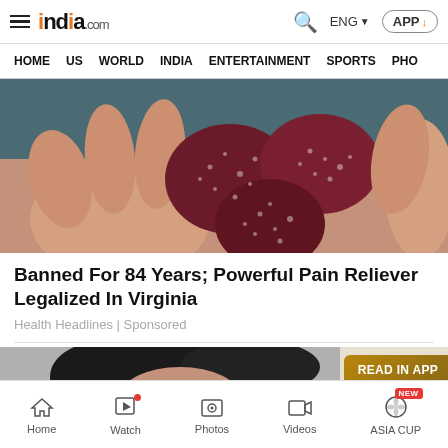india.com — ENG — APP
HOME   US   WORLD   INDIA   ENTERTAINMENT   SPORTS   PHO
[Figure (photo): A hand holding dark red sugary gummy candies/supplements with a speckled sugary coating, close-up shot.]
Banned For 84 Years; Powerful Pain Reliever Legalized In Virginia
Health Headlines | Sponsored
[Figure (photo): Partial preview of second article image showing dark hair of a person; 'READ IN APP' button overlaid on right side.]
Home   Watch   Photos   Videos   ASIA CUP